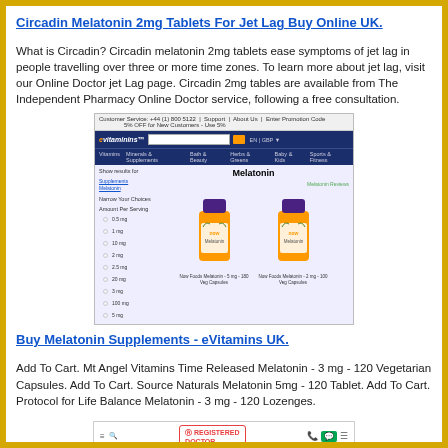Circadin Melatonin 2mg Tablets For Jet Lag Buy Online UK.
What is Circadin? Circadin melatonin 2mg tablets ease symptoms of jet lag in people travelling over three or more time zones. To learn more about jet lag, visit our Online Doctor jet Lag page. Circadin 2mg tables are available from The Independent Pharmacy Online Doctor service, following a free consultation.
[Figure (screenshot): Screenshot of eVitamins UK website showing Melatonin supplement search results with two NOW Foods Melatonin supplement bottles listed]
Buy Melatonin Supplements - eVitamins UK.
Add To Cart. Mt Angel Vitamins Time Released Melatonin - 3 mg - 120 Vegetarian Capsules. Add To Cart. Source Naturals Melatonin 5mg - 120 Tablet. Add To Cart. Protocol for Life Balance Melatonin - 3 mg - 120 Lozenges.
[Figure (screenshot): Screenshot of a mobile website (Registered Doctor / Independent Pharmacy) showing navigation bar and breadcrumb: Home / Jet Lag / Circadin Melatonin]